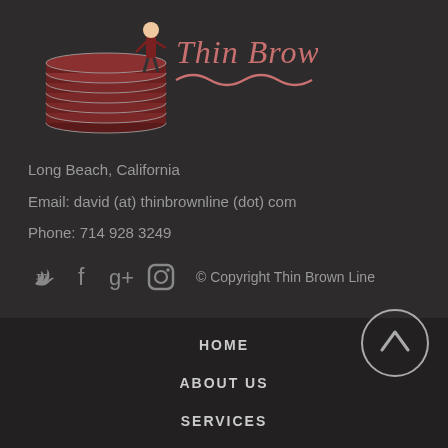[Figure (logo): Thin Brown Line logo with stacked chocolate coins/discs and a person figure, stylized script text 'Thin Brown Line' with wavy underline]
Long Beach, California
Email: david (at) thinbrownline (dot) com
Phone: 714 928 3249
[Figure (infographic): Social media icons: Twitter bird, Facebook f, Google+ g+, Instagram camera icon, followed by © Copyright Thin Brown Line text]
HOME
ABOUT US
SERVICES